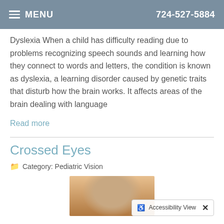MENU  724-527-5884
Dyslexia When a child has difficulty reading due to problems recognizing speech sounds and learning how they connect to words and letters, the condition is known as dyslexia, a learning disorder caused by genetic traits that disturb how the brain works. It affects areas of the brain dealing with language
Read more
Crossed Eyes
Category: Pediatric Vision
[Figure (photo): Photo of a child's face, partially visible]
Accessibility View